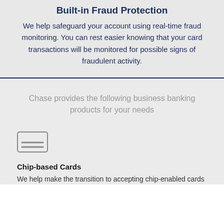Built-in Fraud Protection
We help safeguard your account using real-time fraud monitoring. You can rest easier knowing that your card transactions will be monitored for possible signs of fraudulent activity.
Chase provides the following business banking products for your needs
[Figure (illustration): Icon of a credit card with two horizontal lines on it]
Chip-based Cards
We help make the transition to accepting chip-enabled cards